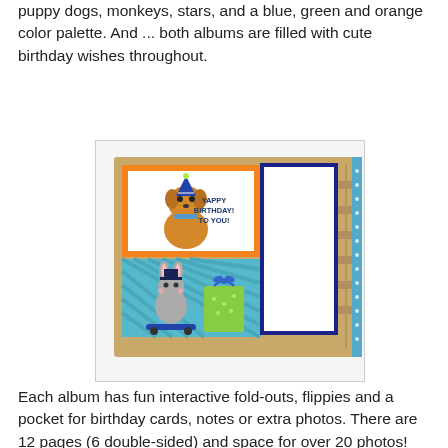puppy dogs, monkeys, stars, and a blue, green and orange color palette. And ... both albums are filled with cute birthday wishes throughout.
[Figure (photo): Photo of a birthday mini album/scrapbook open to show its front page. The album has orange and teal striped patterned paper. Top section shows a cute illustrated puppy dog wearing a party hat with text 'YAPPY BIRTHDAY! TO YOU!'. Bottom section shows a cute illustrated bunny on a skateboard next to a green gift bag with a blue bow. Right side has a navy blue bordered white panel for writing/photos. The album spine is visible on the right side.]
Each album has fun interactive fold-outs, flippies and a pocket for birthday cards, notes or extra photos. There are 12 pages (6 double-sided) and space for over 20 photos!